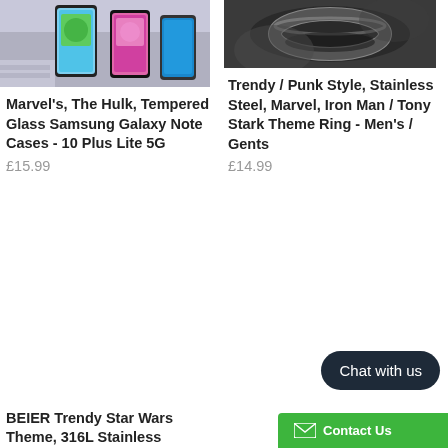[Figure (photo): Product image of Samsung Galaxy phone cases with colorful Hulk themed tempered glass design]
Marvel's, The Hulk, Tempered Glass Samsung Galaxy Note Cases - 10 Plus Lite 5G
£15.99
[Figure (photo): Product image of dark stainless steel ring in punk/tony stark style]
Trendy / Punk Style, Stainless Steel, Marvel, Iron Man / Tony Stark Theme Ring - Men's / Gents
£14.99
BEIER Trendy Star Wars Theme, 316L Stainless
Chat with us
Contact Us